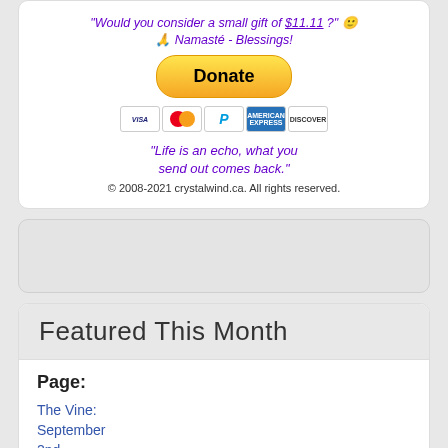"Would you consider a small gift of $11.11 ?" 🙂
🙏 Namasté - Blessings!
[Figure (other): Yellow Donate button with PayPal styling]
[Figure (other): Payment icons: Visa, Mastercard, PayPal, American Express, Discover]
"Life is an echo, what you send out comes back."
© 2008-2021 crystalwind.ca. All rights reserved.
Featured This Month
Page:
The Vine: September 2nd - September 29th
[Figure (photo): Thumbnail image partially visible at bottom]